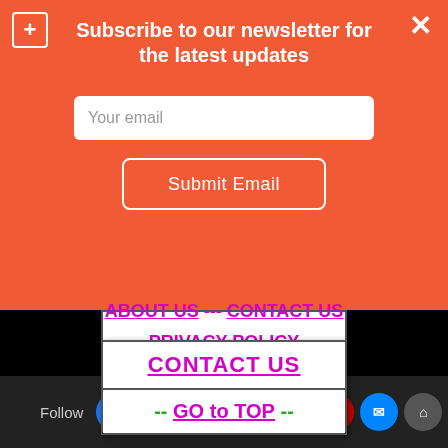Subscribe to our newsletter for the latest updates
Your email
Submit Email
CONTACT US
-- GO to TOP --
ABOUT US --- CONTACT US
--- PRIVACY POLICY ---
Follow [Facebook] [Etsy] [Instagram] [Pinterest] [Twitter] [YouTube] [Messenger] [Email]